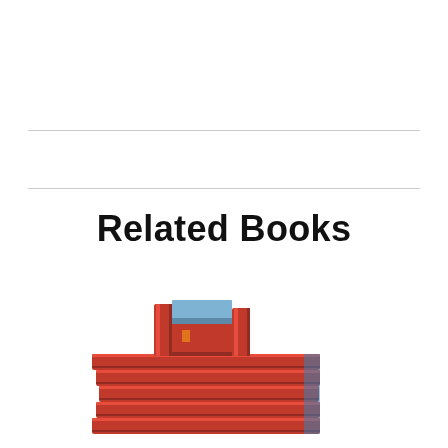Related Books
[Figure (photo): Stack of red books with one book standing upright on top, suggesting a collection of related books]